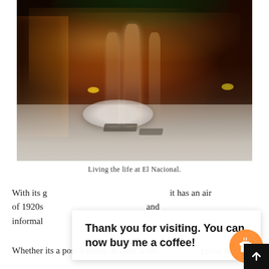[Figure (photo): Interior photo of El Nacional restaurant/bar. Warm amber lighting, Art Deco style bar with shelving in background, two champagne flutes filled with rosé/sparkling wine in foreground on a marble counter, a silver oyster dish with ice and oysters, black coasters, lemon garnish, lush green plants visible at top.]
Living the life at El Nacional.
With its gilded Art Deco inspired detailing, it has an air of 1920s and informal
Thank you for visiting. You can now buy me a coffee!
Whether its a post-Passeig de Gracia shopping spree